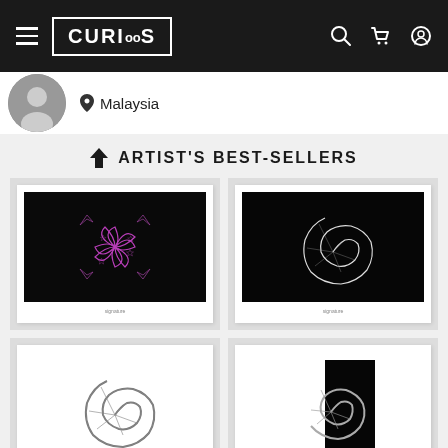CURIOOS — navigation bar with hamburger menu, logo, search, cart, and account icons
[Figure (screenshot): Circular profile avatar photo of a person in black and white]
Malaysia
ARTIST'S BEST-SELLERS
[Figure (photo): Framed art print on black background showing a floral/star geometric pattern in purple/pink neon lines on dark background]
[Figure (photo): Framed art print on black background showing a nautilus/ammonite shell spiral in white/grey on black background]
[Figure (photo): Framed art print on white background showing a metallic silver nautilus shell on white]
[Figure (photo): Framed art print showing a silver/grey nautilus shell on a split black and white background (black tall rectangle on right side)]